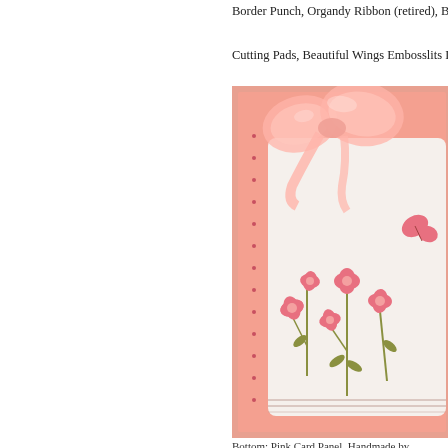Border Punch, Organdy Ribbon (retired), Big Shot Di...
Cutting Pads, Beautiful Wings Embosslits Die, and S...
[Figure (photo): Close-up photo of a handmade pink/salmon greeting card with a sheer organza ribbon bow at the top and a white tag label decorated with stamped pink flowers and a butterfly, on a pink dotted border background.]
Bottom: Pink Card Panel, Handmade by...